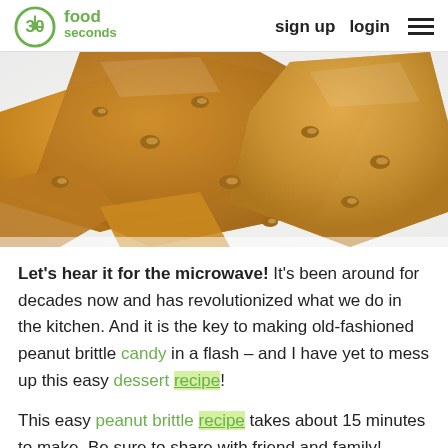30seconds food — sign up   login   ☰
[Figure (photo): Close-up photo of pieces of golden-brown peanut brittle candy scattered on a white background, showing caramelized sugar with embedded peanuts]
Let's hear it for the microwave! It's been around for decades now and has revolutionized what we do in the kitchen. And it is the key to making old-fashioned peanut brittle candy in a flash – and I have yet to mess up this easy dessert recipe!
This easy peanut brittle recipe takes about 15 minutes to make. Be sure to share with friend and family!